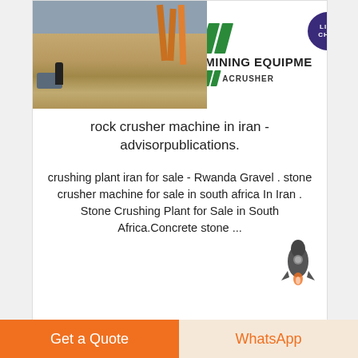[Figure (photo): Mining/quarry site with orange machinery structures, a person and car visible on a dirt road on the left half; on the right half a white background showing the 'MINING EQUIPMENT ACRUSHER' logo with green diagonal slashes. A purple 'LIVE CHAT' speech bubble overlays the top right corner.]
rock crusher machine in iran - advisorpublications.
crushing plant iran for sale - Rwanda Gravel . stone crusher machine for sale in south africa In Iran . Stone Crushing Plant for Sale in South Africa.Concrete stone ...
[Figure (illustration): Small rocket icon graphic in dark gray, positioned at bottom right of the text card.]
Get a Quote
WhatsApp